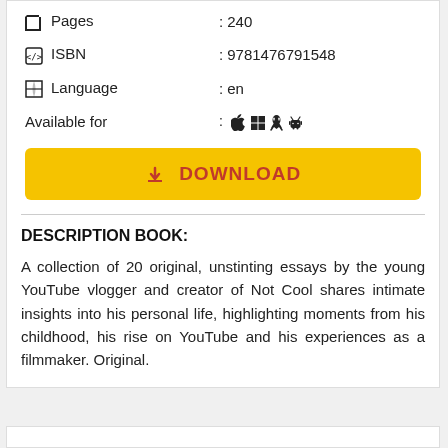| Pages | : 240 |
| ISBN | : 9781476791548 |
| Language | : en |
| Available for | : 🍎 ⊞ 🐧 🤖 |
[Figure (other): Yellow DOWNLOAD button with download icon and red text]
DESCRIPTION BOOK:
A collection of 20 original, unstinting essays by the young YouTube vlogger and creator of Not Cool shares intimate insights into his personal life, highlighting moments from his childhood, his rise on YouTube and his experiences as a filmmaker. Original.